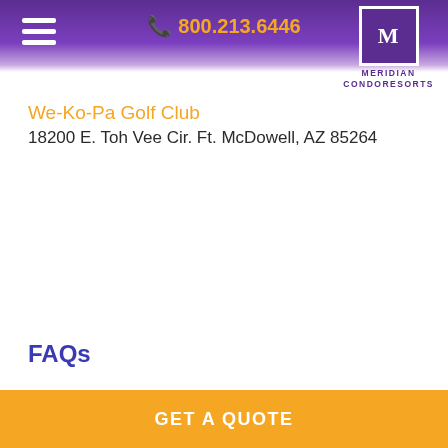800.213.6446 | Meridian CondoResorts
We-Ko-Pa Golf Club
18200 E. Toh Vee Cir. Ft. McDowell, AZ 85264
FAQs
GET A QUOTE